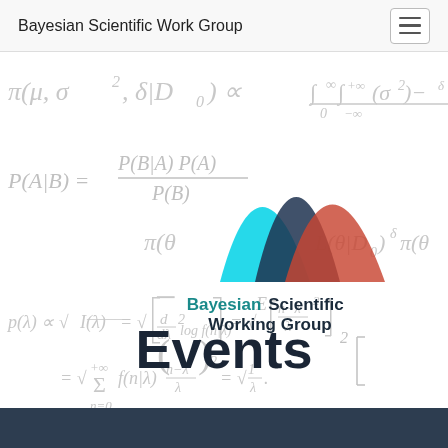Bayesian Scientific Work Group
[Figure (illustration): Hero banner for Bayesian Scientific Working Group website Events page. Background shows various Bayesian statistics formulas in light gray (pi(mu, sigma, delta | D0) proportional to, integral formulas, P(A|B) = P(B|A)P(A)/P(B), pi(theta), L(theta|D0)^delta pi(theta), p(lambda) proportional to sqrt(I(lambda)) with Fisher information expansion, sum formula). In the center-upper area is the Bayesian Scientific Working Group logo: three overlapping bell curves (cyan, dark navy, red/coral) above the text 'Bayesian Scientific Working Group' in teal/dark blue bold font. Overlaid prominently in the lower-center is the word 'Events' in very large bold dark navy text.]
Events